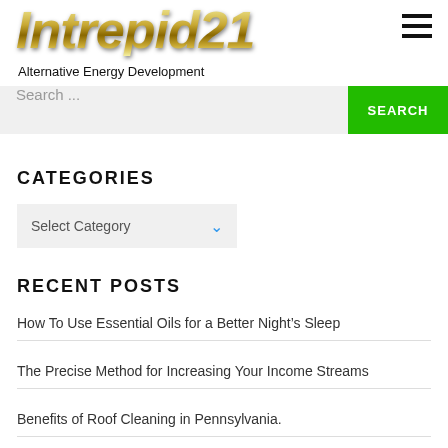[Figure (logo): Intrepid21 logo in gold metallic italic font]
Alternative Energy Development
Search ...
CATEGORIES
Select Category
RECENT POSTS
How To Use Essential Oils for a Better Night’s Sleep
The Precise Method for Increasing Your Income Streams
Benefits of Roof Cleaning in Pennsylvania.